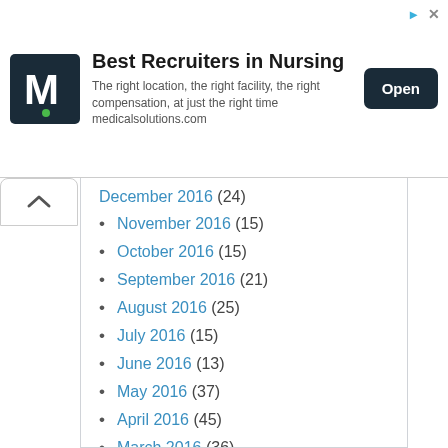[Figure (logo): Medical Solutions recruiter ad banner with M logo, title 'Best Recruiters in Nursing', description text, and Open button]
December 2016 (24)
November 2016 (15)
October 2016 (15)
September 2016 (21)
August 2016 (25)
July 2016 (15)
June 2016 (13)
May 2016 (37)
April 2016 (45)
March 2016 (36)
February 2016 (30)
January 2016 (20)
December 2015 (11)
November 2015 (37)